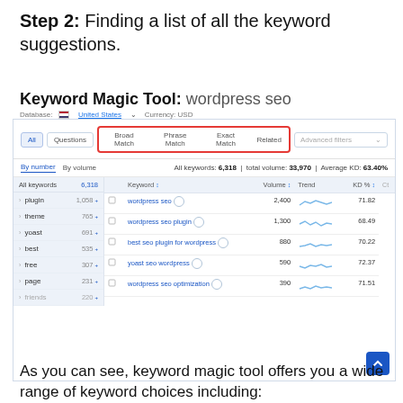Step 2: Finding a list of all the keyword suggestions.
Keyword Magic Tool: wordpress seo
[Figure (screenshot): SEMrush Keyword Magic Tool interface showing filter buttons (All, Questions, Broad Match, Phrase Match, Exact Match, Related) with a red box highlighting the match-type tabs, a left sidebar listing keyword groups (plugin 1,058, theme 765, yoast 691, best 535, free 307, page 231, friends 220), and a right table with keywords (wordpress seo 2,400 71.82, wordpress seo plugin 1,300 68.49, best seo plugin for wordpress 880 70.22, yoast seo wordpress 590 72.37, wordpress seo optimization 390 71.51), stats showing All keywords: 6,318, total volume: 33,970, Average KD: 63.40%]
As you can see, keyword magic tool offers you a wide range of keyword choices including: